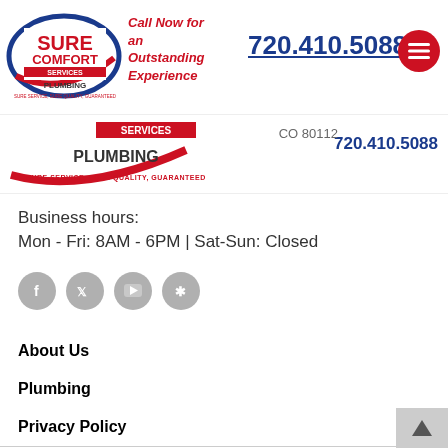Call Now for an Outstanding Experience 720.410.5088
[Figure (logo): Sure Comfort Services Plumbing logo with red and blue swoosh design. Text: SURE COMFORT SERVICES PLUMBING. Slogan: SURE SERVICE, SURE QUALITY, GUARANTEED]
CO 80112
720.410.5088
Business hours:
Mon - Fri: 8AM - 6PM | Sat-Sun: Closed
[Figure (infographic): Social media icons: Facebook, Twitter, YouTube, Yelp]
About Us
Plumbing
Privacy Policy